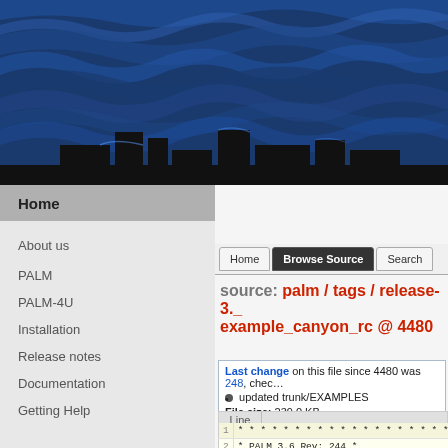[Figure (illustration): Blue water/waves banner with dark city skyline silhouette at bottom, used as website header image]
Home
About us
PALM
PALM-4U
Installation
Release notes
Documentation
Getting Help
source: palm / tags / release-3._ example_canyon_rc @ 4480
Last change on this file since 4480 was 248, chec…
updated trunk/EXAMPLES
File size: 239.0 KB
| Line |  |
| --- | --- |
| 1 | * * * * * * * * * * * * * * * * * * * * * * * * * * * * * * |
| 2 | * PALM 3.6  Rev: 244    * |
| 3 |  |